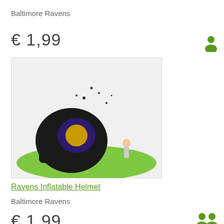Baltimore Ravens
€ 1,99
[Figure (photo): Baltimore Ravens inflatable helmet product image on green surface with a person standing next to it for scale]
Ravens Inflatable Helmet
Baltimore Ravens
€ 1,99
[Figure (photo): Baltimore Ravens black long-sleeve shirt with team logo]
[Figure (illustration): Single green person/user silhouette icon]
[Figure (illustration): Two green person/user silhouette icons]